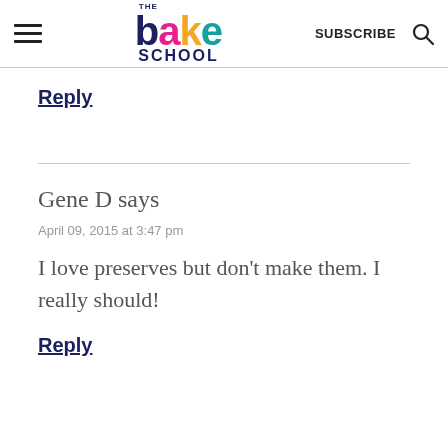the bake school — SUBSCRIBE
Reply
Gene D says
April 09, 2015 at 3:47 pm
I love preserves but don't make them. I really should!
Reply